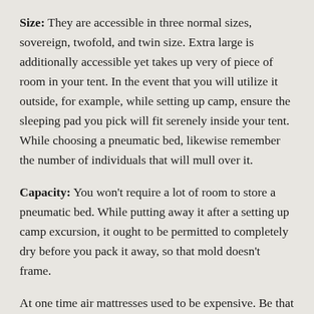Size: They are accessible in three normal sizes, sovereign, twofold, and twin size. Extra large is additionally accessible yet takes up very of piece of room in your tent. In the event that you will utilize it outside, for example, while setting up camp, ensure the sleeping pad you pick will fit serenely inside your tent. While choosing a pneumatic bed, likewise remember the number of individuals that will mull over it.
Capacity: You won't require a lot of room to store a pneumatic bed. While putting away it after a setting up camp excursion, it ought to be permitted to completely dry before you pack it away, so that mold doesn't frame.
At one time air mattresses used to be expensive. Be that as it may, today they are undeniably more reasonable, and somewhat less expensive than the typical curl spring sleeping cushions. They are accessible in an